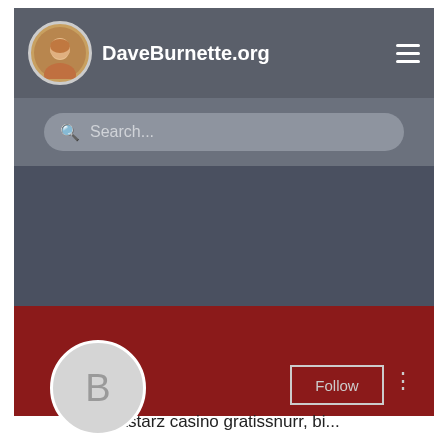[Figure (screenshot): Mobile website screenshot of DaveBurnette.org showing navigation bar with circular avatar photo and site title, a search bar, dark background area, and a red banner with a grey 'B' profile avatar circle, Follow button, and three-dots menu]
Bitstarz casino gratissnurr, bi...